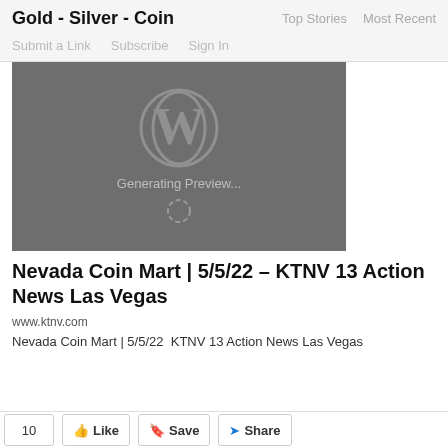Gold - Silver - Coin
Top Stories  Most Recent
Submit a Link   Subscribe   Sign In
[Figure (screenshot): Dark grey placeholder image with WordPress logo and text 'Generating Preview...' with a loading spinner]
Nevada Coin Mart | 5/5/22 – KTNV 13 Action News Las Vegas
www.ktnv.com
Nevada Coin Mart | 5/5/22  KTNV 13 Action News Las Vegas
10  Like  Save  Share